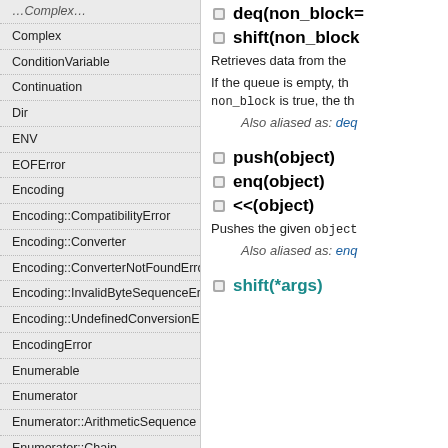Complex
ConditionVariable
Continuation
Dir
ENV
EOFError
Encoding
Encoding::CompatibilityError
Encoding::Converter
Encoding::ConverterNotFoundError
Encoding::InvalidByteSequenceError
Encoding::UndefinedConversionError
EncodingError
Enumerable
Enumerator
Enumerator::ArithmeticSequence
Enumerator::Chain
Enumerator::Generator
Enumerator::Lazy
Enumerator::Producer
deq(non_block=…)
shift(non_block=…)
Retrieves data from the …
If the queue is empty, th… non_block is true, the th…
Also aliased as: deq…
push(object)
enq(object)
<<(object)
Pushes the given object…
Also aliased as: enq…
shift(*args)